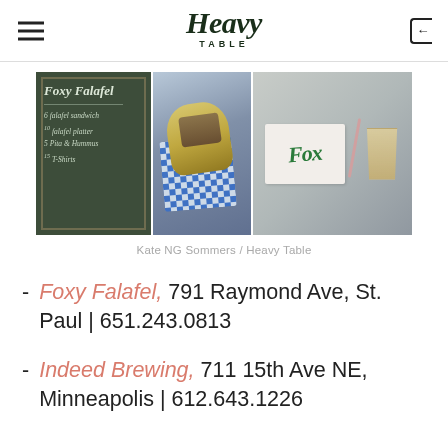Heavy Table
[Figure (photo): Three-panel food photo strip: left panel shows a chalkboard menu for Foxy Falafel listing falafel sandwich, falafel platter, pita & hummus; center panel shows a hand holding a falafel wrap in blue-and-white checkered paper; right panel shows a Foxy Falafel branded box next to a cup of lemonade with a straw.]
Kate NG Sommers / Heavy Table
Foxy Falafel, 791 Raymond Ave, St. Paul | 651.243.0813
Indeed Brewing, 711 15th Ave NE, Minneapolis | 612.643.1226